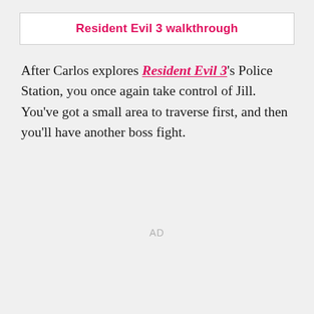Resident Evil 3 walkthrough
After Carlos explores Resident Evil 3's Police Station, you once again take control of Jill. You've got a small area to traverse first, and then you'll have another boss fight.
AD